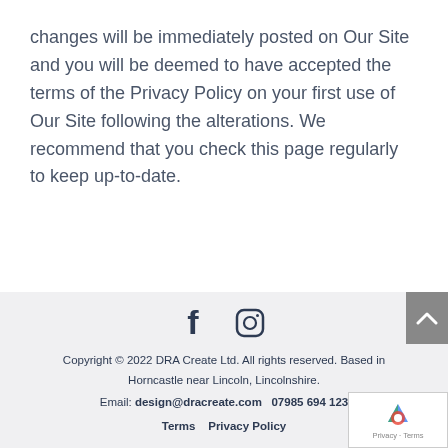changes will be immediately posted on Our Site and you will be deemed to have accepted the terms of the Privacy Policy on your first use of Our Site following the alterations. We recommend that you check this page regularly to keep up-to-date.
[Figure (other): Social media icons: Facebook (f) and Instagram (camera) icons in dark navy color]
Copyright © 2022 DRA Create Ltd. All rights reserved. Based in Horncastle near Lincoln, Lincolnshire. Email: design@dracreate.com   07985 694 123 Terms   Privacy Policy